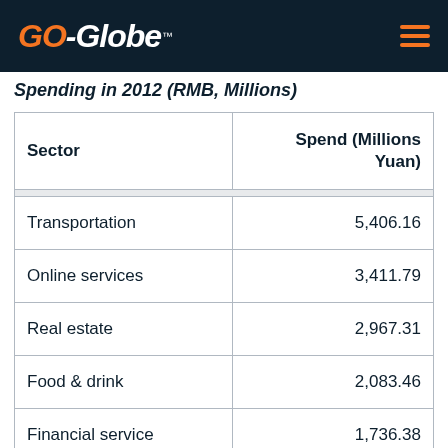GO-Globe
Spending in 2012 (RMB, Millions)
| Sector | Spend (Millions Yuan) |
| --- | --- |
| Transportation | 5,406.16 |
| Online services | 3,411.79 |
| Real estate | 2,967.31 |
| Food & drink | 2,083.46 |
| Financial service | 1,736.38 |